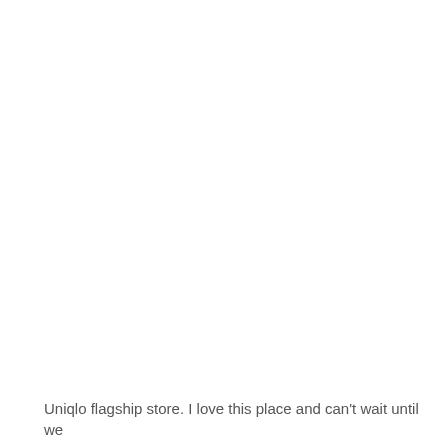Uniqlo flagship store. I love this place and can't wait until we